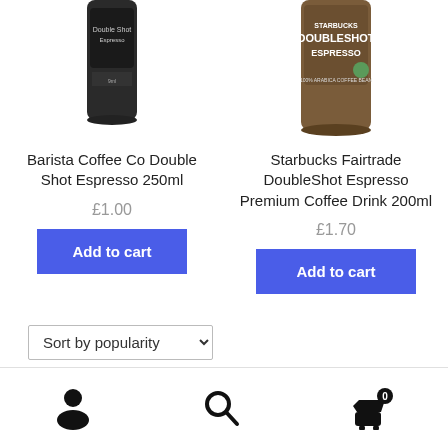[Figure (photo): Barista Coffee Co Double Shot Espresso 250ml can, partially visible at top]
Barista Coffee Co Double Shot Espresso 250ml
£1.00
Add to cart
[Figure (photo): Starbucks Fairtrade DoubleShot Espresso Premium Coffee Drink 200ml can, partially visible at top]
Starbucks Fairtrade DoubleShot Espresso Premium Coffee Drink 200ml
£1.70
Add to cart
Sort by popularity